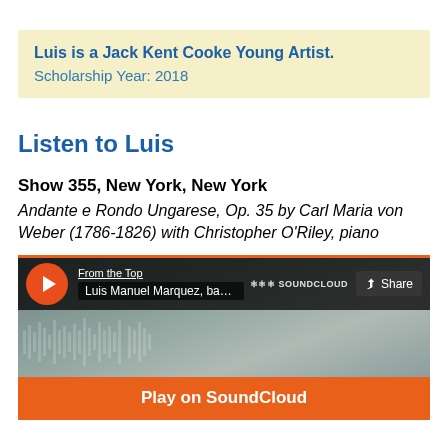Luis is a Jack Kent Cooke Young Artist. Scholarship Year: 2018
Listen to Luis
Show 355, New York, New York
Andante e Rondo Ungarese, Op. 35 by Carl Maria von Weber (1786-1826) with Christopher O'Riley, piano
[Figure (screenshot): SoundCloud embedded player showing Luis Manuel Marquez, bassoon track from From the Top, with orange play button, share button, and Play on SoundCloud orange bar at bottom]